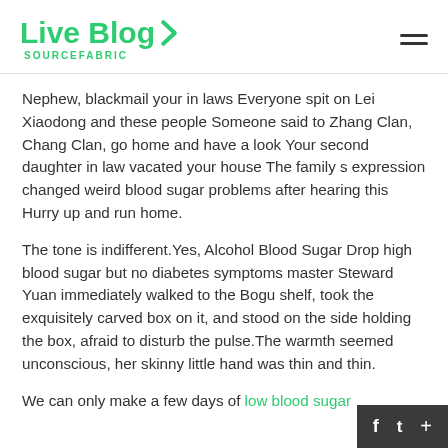Live Blog SOURCEFABRIC
Nephew, blackmail your in laws Everyone spit on Lei Xiaodong and these people Someone said to Zhang Clan, Chang Clan, go home and have a look Your second daughter in law vacated your house The family s expression changed weird blood sugar problems after hearing this Hurry up and run home.
The tone is indifferent.Yes, Alcohol Blood Sugar Drop high blood sugar but no diabetes symptoms master Steward Yuan immediately walked to the Bogu shelf, took the exquisitely carved box on it, and stood on the side holding the box, afraid to disturb the pulse.The warmth seemed unconscious, her skinny little hand was thin and thin.
We can only make a few days of low blood sugar